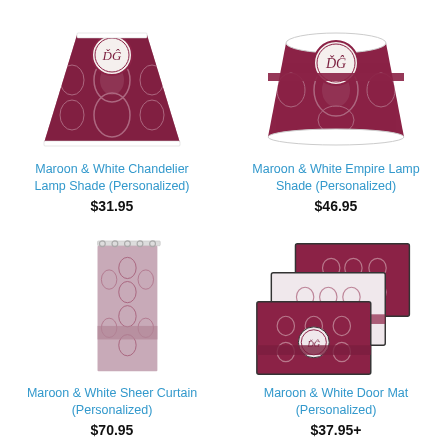[Figure (photo): Maroon and white chandelier lamp shade with damask pattern and monogram medallion]
Maroon & White Chandelier Lamp Shade (Personalized)
$31.95
[Figure (photo): Maroon and white empire lamp shade with damask pattern and monogram medallion, top view]
Maroon & White Empire Lamp Shade (Personalized)
$46.95
[Figure (photo): Maroon and white sheer curtain panel with damask pattern and horizontal stripe]
Maroon & White Sheer Curtain (Personalized)
$70.95
[Figure (photo): Maroon and white door mat set with damask pattern and monogram, shown as stacked mats]
Maroon & White Door Mat (Personalized)
$37.95+